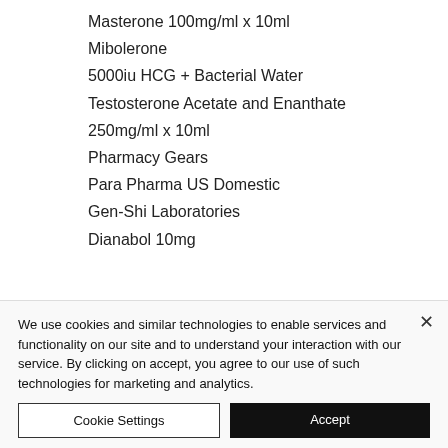Masterone 100mg/ml x 10ml
Mibolerone
5000iu HCG + Bacterial Water
Testosterone Acetate and Enanthate
250mg/ml x 10ml
Pharmacy Gears
Para Pharma US Domestic
Gen-Shi Laboratories
Dianabol 10mg
We use cookies and similar technologies to enable services and functionality on our site and to understand your interaction with our service. By clicking on accept, you agree to our use of such technologies for marketing and analytics.
Cookie Settings
Accept